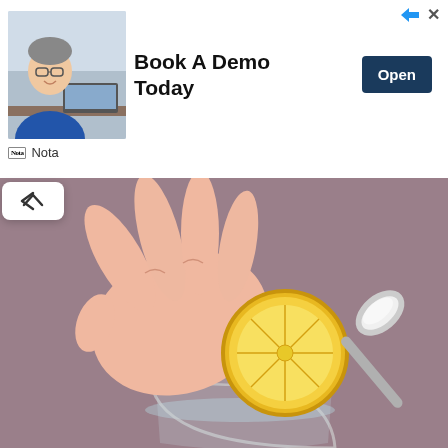[Figure (screenshot): Advertisement banner with a man in glasses sitting at a desk, text 'Book A Demo Today', an 'Open' button, and 'Nota' branding at bottom left. Forward/close icons at top right.]
[Figure (illustration): Illustration of a hand squeezing a lemon slice over a glass, with a spoon containing a white powder/substance on a mauve/purple background.]
Removes Hanging Belly Fat In 5 Days. Read More Here
Keto
[Figure (photo): Photo of stuffed green peppers with dark sauce and vegetables in a baking dish.]